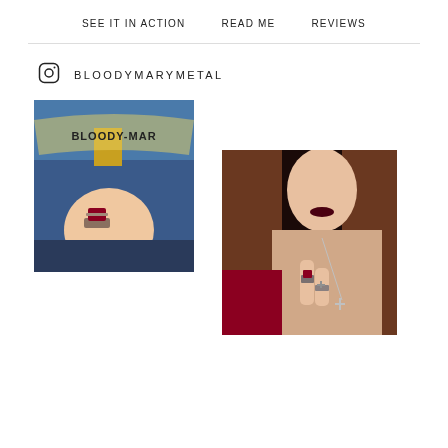SEE IT IN ACTION   READ ME   REVIEWS
BLOODYMARYMETAL
[Figure (photo): Close-up of a hand wearing a dark red gemstone ring with ornate silver setting, in front of a Bloody Mary mural/sign with blue and yellow colors]
[Figure (photo): Woman with dark hair and dark lipstick wearing a red gemstone ring and cross necklace, dressed in red]